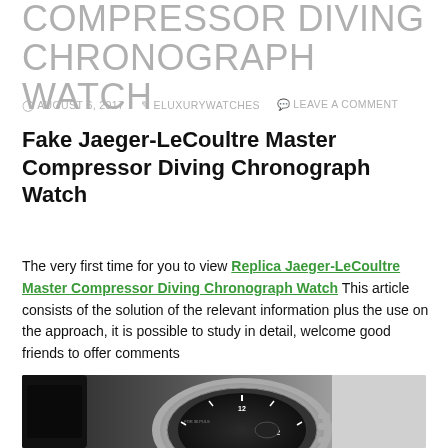COMPRESSOR DIVING CHRONOGRAPH WATCH
AUGUST 6, 2017   ELUXURYWATCHES   LEAVE A COMMENT
Fake Jaeger-LeCoultre Master Compressor Diving Chronograph Watch
The very first time for you to view Replica Jaeger-LeCoultre Master Compressor Diving Chronograph Watch This article consists of the solution of the relevant information plus the use on the approach, it is possible to study in detail, welcome good friends to offer comments
[Figure (photo): Photo of a Jaeger-LeCoultre Master Compressor Diving Chronograph watch on black strap, viewed from above at an angle, showing the dark dial with white numerals and a tachymeter/pulsometer bezel, against a grey/white background.]